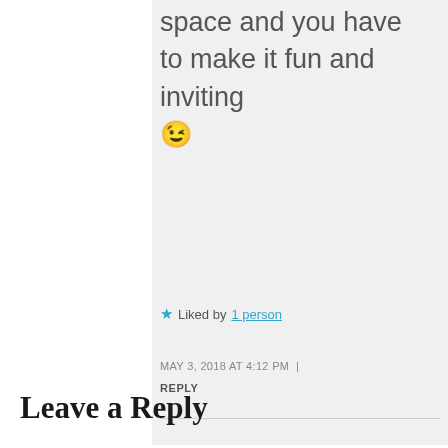space and you have to make it fun and inviting 😉
★ Liked by 1 person
MAY 3, 2018 AT 4:12 PM | REPLY
Leave a Reply